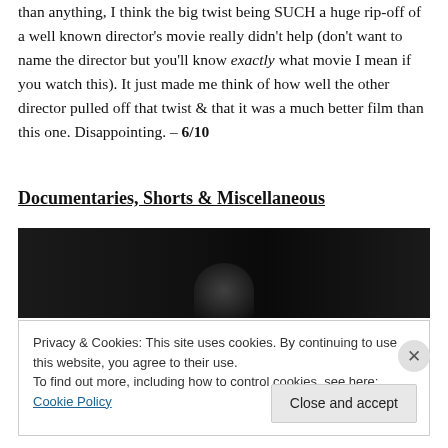than anything, I think the big twist being SUCH a huge rip-off of a well known director's movie really didn't help (don't want to name the director but you'll know exactly what movie I mean if you watch this). It just made me think of how well the other director pulled off that twist & that it was a much better film than this one. Disappointing. – 6/10
Documentaries, Shorts & Miscellaneous
[Figure (photo): Dark concert or performance scene with silhouettes of musicians on a dimly lit stage]
Privacy & Cookies: This site uses cookies. By continuing to use this website, you agree to their use.
To find out more, including how to control cookies, see here: Cookie Policy
Close and accept